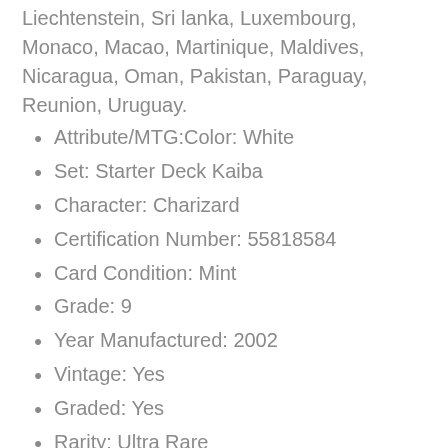Liechtenstein, Sri lanka, Luxembourg, Monaco, Macao, Martinique, Maldives, Nicaragua, Oman, Pakistan, Paraguay, Reunion, Uruguay.
Attribute/MTG:Color: White
Set: Starter Deck Kaiba
Character: Charizard
Certification Number: 55818584
Card Condition: Mint
Grade: 9
Year Manufactured: 2002
Vintage: Yes
Graded: Yes
Rarity: Ultra Rare
Game: Yu-Gi-Oh! TCG
Language: English
Card Name: Blue Eyes White Dragon
Feature: Unlimited